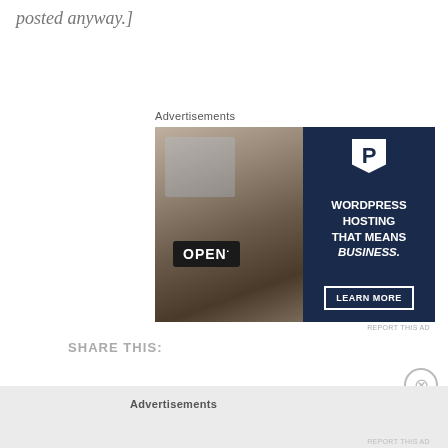posted anyway.]
Advertisements
[Figure (photo): Advertisement banner for WordPress hosting. Left half shows a photo of a woman holding an OPEN sign in a shop window. Right half is dark navy blue with a white 'P' logo, bold white text reading 'WORDPRESS HOSTING THAT MEANS BUSINESS.' and a 'LEARN MORE' button.]
REPORT THIS AD
SHARE THIS:
Advertisements
REPORT THIS AD